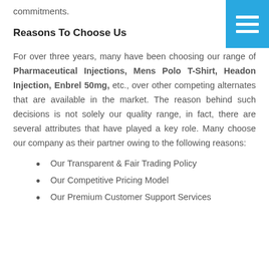commitments.
Reasons To Choose Us
For over three years, many have been choosing our range of Pharmaceutical Injections, Mens Polo T-Shirt, Headon Injection, Enbrel 50mg, etc., over other competing alternates that are available in the market. The reason behind such decisions is not solely our quality range, in fact, there are several attributes that have played a key role. Many choose our company as their partner owing to the following reasons:
Our Transparent & Fair Trading Policy
Our Competitive Pricing Model
Our Premium Customer Support Services